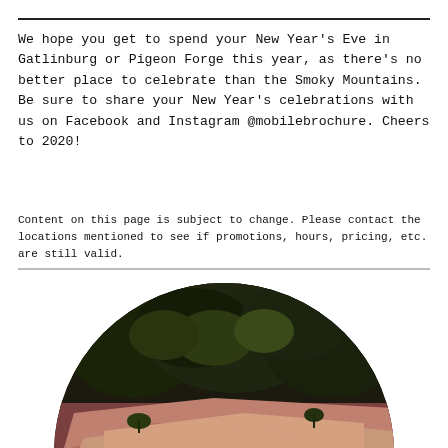We hope you get to spend your New Year's Eve in Gatlinburg or Pigeon Forge this year, as there's no better place to celebrate than the Smoky Mountains. Be sure to share your New Year's celebrations with us on Facebook and Instagram @mobilebrochure. Cheers to 2020!
Content on this page is subject to change. Please contact the locations mentioned to see if promotions, hours, pricing, etc. are still valid.
[Figure (photo): Circular-cropped photo of a rocky outdoor scene with trees and greenery in the background and a rocky/sandy foreground with pink/warm light tones.]